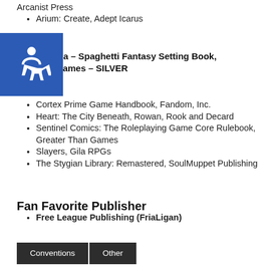Arcanist Press
Arium: Create, Adept Icarus
Brancalonia – Spaghetti Fantasy Setting Book, Acheron Games – SILVER
Cortex Prime Game Handbook, Fandom, Inc.
Heart: The City Beneath, Rowan, Rook and Decard
Sentinel Comics: The Roleplaying Game Core Rulebook, Greater Than Games
Slayers, Gila RPGs
The Stygian Library: Remastered, SoulMuppet Publishing
Fan Favorite Publisher
Free League Publishing (FriaLigan)
Conventions  Other